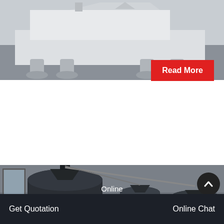[Figure (photo): Top portion of a white industrial crushing machine/equipment on a concrete floor, viewed from the side.]
Read More
Mongolia Crushing Plant For Sale
The station is widely used in mining, coal mining, and construction waste recycling mobile crushing, earthwork engineering, city infrastructure, road or construction sites…
[Figure (photo): Industrial facility with large dark cylindrical tanks/silos inside a warehouse building.]
Online
Get Quotation
Online Chat